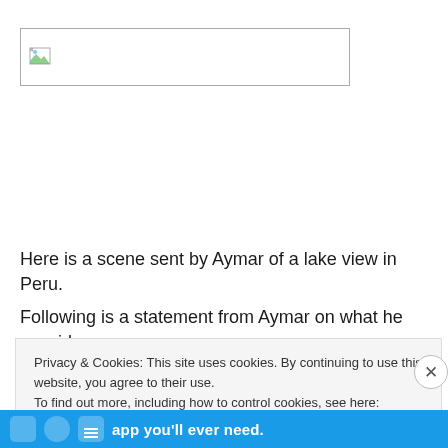[Figure (other): Broken/missing image placeholder box with a small broken image icon in the top-left corner]
Here is a scene sent by Aymar of a lake view in Peru.
Following is a statement from Aymar on what he considers
Privacy & Cookies: This site uses cookies. By continuing to use this website, you agree to their use.
To find out more, including how to control cookies, see here: Cookie Policy
Close and accept
[Figure (other): Blue advertisement banner at the bottom with icons and text: app you'll ever need.]